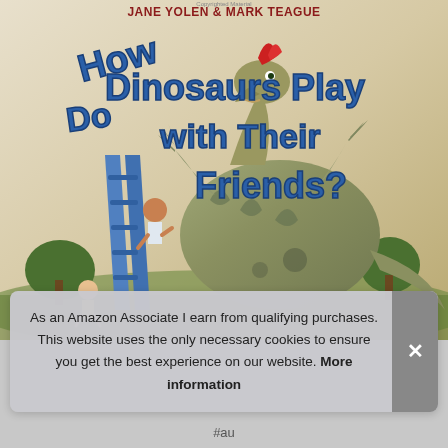[Figure (illustration): Book cover of 'How Do Dinosaurs Play with Their Friends?' by Jane Yolen and Mark Teague. Shows a large illustrated dinosaur wearing a red crest/hat on a playground slide, with two children playing nearby. Warm beige/tan background with colorful illustrated title text arching across the top.]
As an Amazon Associate I earn from qualifying purchases. This website uses the only necessary cookies to ensure you get the best experience on our website. More information
#au